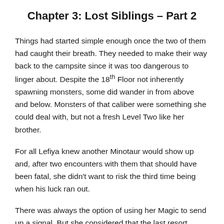Chapter 3: Lost Siblings – Part 2
Things had started simple enough once the two of them had caught their breath. They needed to make their way back to the campsite since it was too dangerous to linger about. Despite the 18th Floor not inherently spawning monsters, some did wander in from above and below. Monsters of that caliber were something she could deal with, but not a fresh Level Two like her brother.
For all Lefiya knew another Minotaur would show up and, after two encounters with them that should have been fatal, she didn't want to risk the third time being when his luck ran out.
There was always the option of using her Magic to send up a signal. But she considered that the last resort.